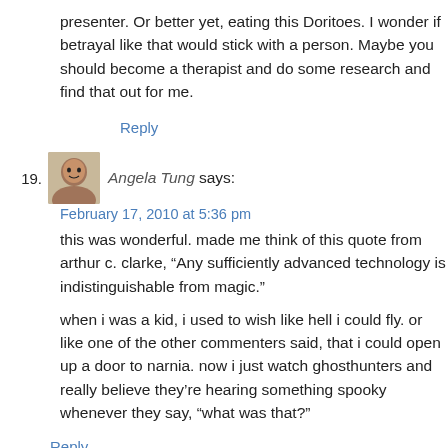presenter. Or better yet, eating this Doritoes. I wonder if betrayal like that would stick with a person. Maybe you should become a therapist and do some research and find that out for me.
Reply
19. Angela Tung says: February 17, 2010 at 5:36 pm
this was wonderful. made me think of this quote from arthur c. clarke, “Any sufficiently advanced technology is indistinguishable from magic.”

when i was a kid, i used to wish like hell i could fly. or like one of the other commenters said, that i could open up a door to narnia. now i just watch ghosthunters and really believe they’re hearing something spooky whenever they say, “what was that?”
Reply
Richard Cox says: